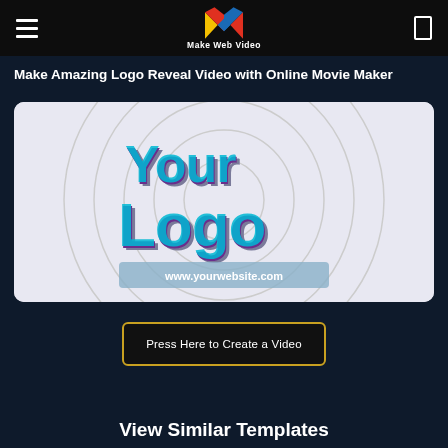[Figure (logo): Make Web Video logo — stylized M in red/blue/yellow with text 'Make Web Video' below it, on black navigation bar]
Make Amazing Logo Reveal Video with Online Movie Maker
[Figure (screenshot): Video template thumbnail showing 'Your Logo' text in cyan/purple 3D style letters with 'www.yourwebsite.com' subtitle, on a light circular ripple background]
Press Here to Create a Video
View Similar Templates